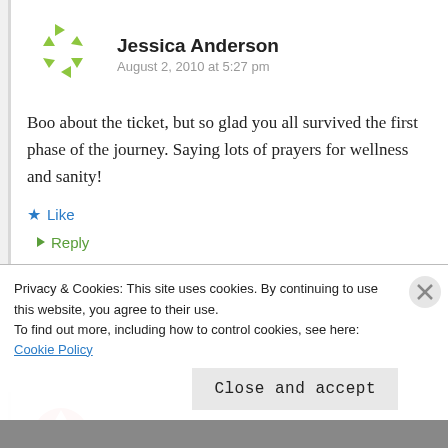[Figure (illustration): Green arrow-based circular avatar icon for user Jessica Anderson]
Jessica Anderson
August 2, 2010 at 5:27 pm
Boo about the ticket, but so glad you all survived the first phase of the journey. Saying lots of prayers for wellness and sanity!
Like
Reply
[Figure (illustration): Red/white circular avatar icon for user MPosada]
MPosada
Privacy & Cookies: This site uses cookies. By continuing to use this website, you agree to their use. To find out more, including how to control cookies, see here: Cookie Policy
Close and accept